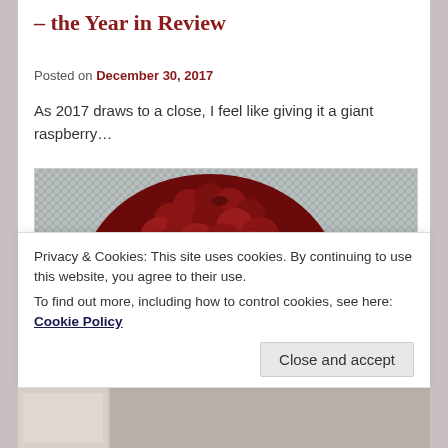– the Year in Review
Posted on December 30, 2017
As 2017 draws to a close, I feel like giving it a giant raspberry…
[Figure (photo): Close-up photo of a single red raspberry against a grey woven fabric background]
Privacy & Cookies: This site uses cookies. By continuing to use this website, you agree to their use. To find out more, including how to control cookies, see here: Cookie Policy